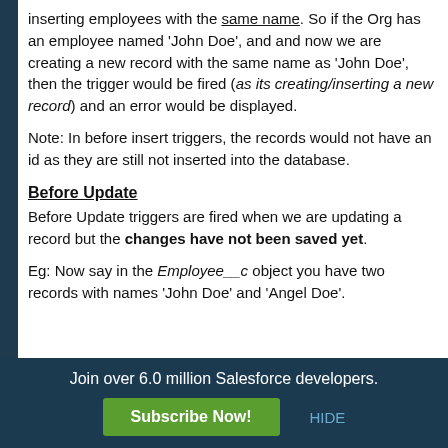inserting employees with the same name. So if the Org has an employee named 'John Doe', and and now we are creating a new record with the same name as 'John Doe', then the trigger would be fired (as its creating/inserting a new record) and an error would be displayed.
Note: In before insert triggers, the records would not have an id as they are still not inserted into the database.
Before Update
Before Update triggers are fired when we are updating a record but the changes have not been saved yet.
Eg: Now say in the Employee__c object you have two records with names 'John Doe' and 'Angel Doe'.
Join over 6.0 million Salesforce developers. Subscribe Now! HIDE